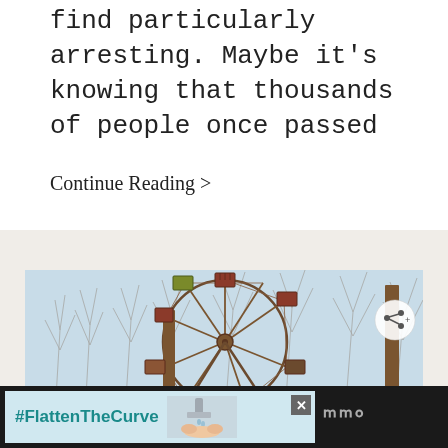find particularly arresting. Maybe it's knowing that thousands of people once passed
Continue Reading >
[Figure (photo): An abandoned rusty Ferris wheel with bare trees visible through the structure against a light blue sky. A share button is visible in the upper right corner of the image.]
#FlattenTheCurve